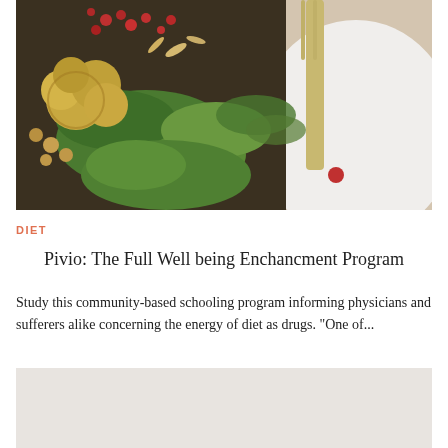[Figure (photo): Overhead photo of a colorful salad with cauliflower, greens, pomegranate seeds, and chickpeas on a white plate with a fork]
DIET
Pivio: The Full Well being Enchancment Program
Study this community-based schooling program informing physicians and sufferers alike concerning the energy of diet as drugs. “One of...
[Figure (photo): Partially visible image at bottom of page, light gray/beige background]